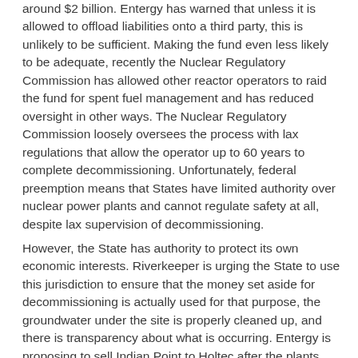around $2 billion. Entergy has warned that unless it is allowed to offload liabilities onto a third party, this is unlikely to be sufficient. Making the fund even less likely to be adequate, recently the Nuclear Regulatory Commission has allowed other reactor operators to raid the fund for spent fuel management and has reduced oversight in other ways. The Nuclear Regulatory Commission loosely oversees the process with lax regulations that allow the operator up to 60 years to complete decommissioning. Unfortunately, federal preemption means that States have limited authority over nuclear power plants and cannot regulate safety at all, despite lax supervision of decommissioning.
However, the State has authority to protect its own economic interests. Riverkeeper is urging the State to use this jurisdiction to ensure that the money set aside for decommissioning is actually used for that purpose, the groundwater under the site is properly cleaned up, and there is transparency about what is occurring. Entergy is proposing to sell Indian Point to Holtec after the plants close. Riverkeeper is opposed to transfer of the license away from Entergy to Holtec, a company with a dubious corporate history and little experience with decommissioning, but we do not oppose a license transfer to a reputable company under reasonable terms